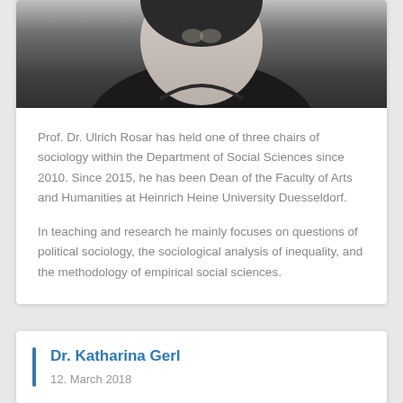[Figure (photo): Black and white portrait photo of Prof. Dr. Ulrich Rosar, showing head and upper torso, wearing a dark shirt]
Prof. Dr. Ulrich Rosar has held one of three chairs of sociology within the Department of Social Sciences since 2010. Since 2015, he has been Dean of the Faculty of Arts and Humanities at Heinrich Heine University Duesseldorf.
In teaching and research he mainly focuses on questions of political sociology, the sociological analysis of inequality, and the methodology of empirical social sciences.
Dr. Katharina Gerl
12. March 2018